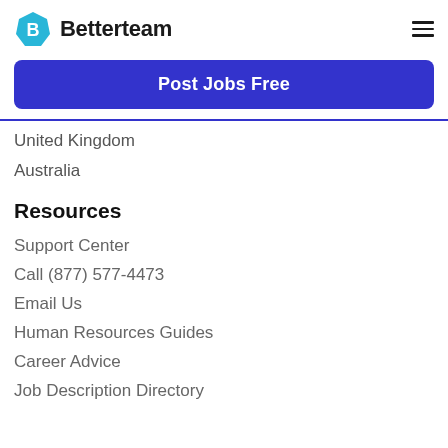Betterteam
Post Jobs Free
United Kingdom
Australia
Resources
Support Center
Call (877) 577-4473
Email Us
Human Resources Guides
Career Advice
Job Description Directory